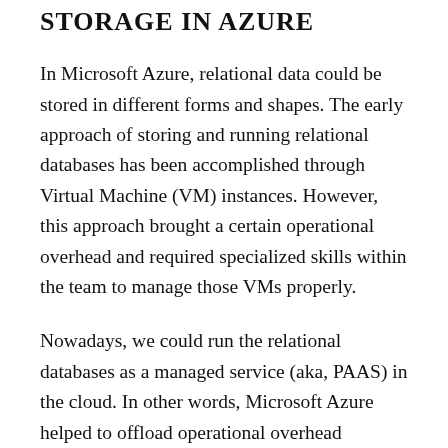STORAGE IN AZURE
In Microsoft Azure, relational data could be stored in different forms and shapes. The early approach of storing and running relational databases has been accomplished through Virtual Machine (VM) instances. However, this approach brought a certain operational overhead and required specialized skills within the team to manage those VMs properly.
Nowadays, we could run the relational databases as a managed service (aka, PAAS) in the cloud. In other words, Microsoft Azure helped to offload operational overhead associated with the management of VMs that are assigned to run your database services. All